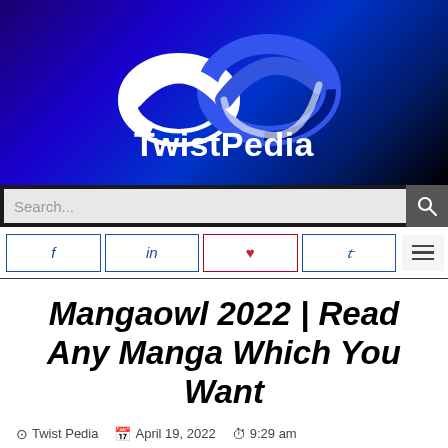[Figure (logo): TwistPedia website logo with infinity-style swirl graphic on dark blue/black gradient background]
Search...
f  in  p  t  (menu icon)
Mangaowl 2022 | Read Any Manga Which You Want
Twist Pedia  April 19, 2022  9:29 am